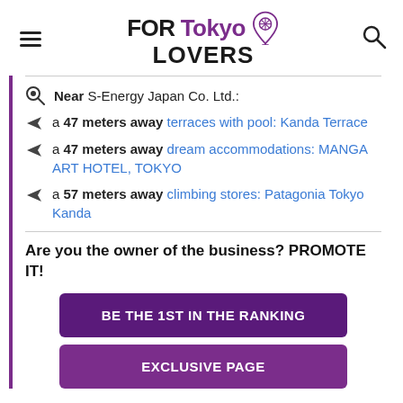FORTokyo LOVERS
Near S-Energy Japan Co. Ltd.:
a 47 meters away terraces with pool: Kanda Terrace
a 47 meters away dream accommodations: MANGA ART HOTEL, TOKYO
a 57 meters away climbing stores: Patagonia Tokyo Kanda
Are you the owner of the business? PROMOTE IT!
BE THE 1ST IN THE RANKING
EXCLUSIVE PAGE